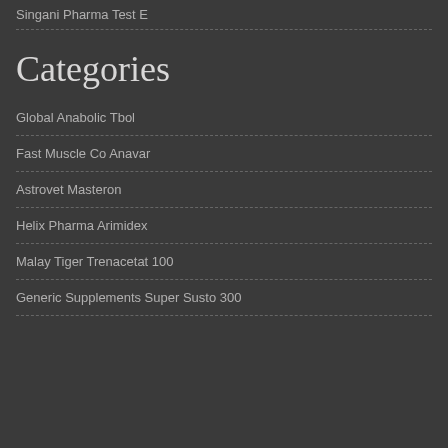Singani Pharma Test E
Categories
Global Anabolic Tbol
Fast Muscle Co Anavar
Astrovet Masteron
Helix Pharma Arimidex
Malay Tiger Trenacetat 100
Generic Supplements Super Susto 300